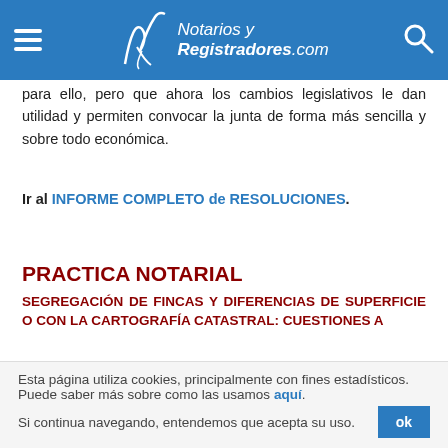Notarios y Registradores.com
para ello, pero que ahora los cambios legislativos le dan utilidad y permiten convocar la junta de forma más sencilla y sobre todo económica.
Ir al INFORME COMPLETO de RESOLUCIONES.
PRACTICA NOTARIAL
SEGREGACIÓN DE FINCAS Y DIFERENCIAS DE SUPERFICIE O CON LA CARTOGRAFÍA CATASTRAL: CUESTIONES A
Esta página utiliza cookies, principalmente con fines estadísticos. Puede saber más sobre como las usamos aquí. Si continua navegando, entendemos que acepta su uso.